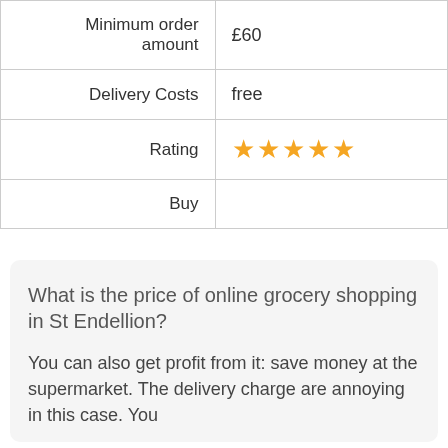| Minimum order amount | £60 |
| Delivery Costs | free |
| Rating | ★★★★★ |
| Buy |  |
What is the price of online grocery shopping in St Endellion?
You can also get profit from it: save money at the supermarket. The delivery charge are annoying in this case. You